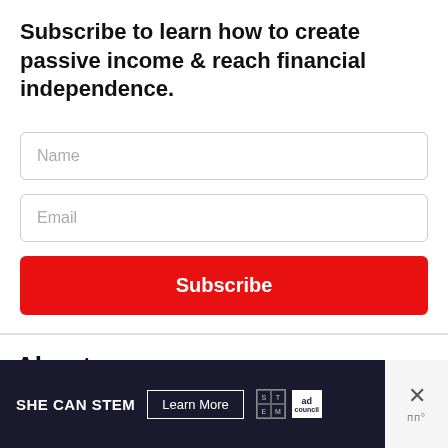Subscribe to learn how to create passive income & reach financial independence.
[Figure (screenshot): Email subscription form with Name field, Email field, and a red Subscribe button]
About me
[Figure (infographic): SHE CAN STEM advertisement banner with 'Learn More' button, STEM logo grid, Ad Council logo, and close button with an X and brand mark]